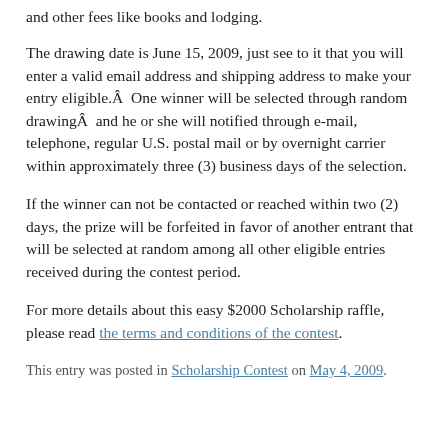and other fees like books and lodging.
The drawing date is June 15, 2009, just see to it that you will enter a valid email address and shipping address to make your entry eligible.Â  One winner will be selected through random drawingÂ  and he or she will notified through e-mail, telephone, regular U.S. postal mail or by overnight carrier within approximately three (3) business days of the selection.
If the winner can not be contacted or reached within two (2) days, the prize will be forfeited in favor of another entrant that will be selected at random among all other eligible entries received during the contest period.
For more details about this easy $2000 Scholarship raffle, please read the terms and conditions of the contest.
This entry was posted in Scholarship Contest on May 4, 2009.